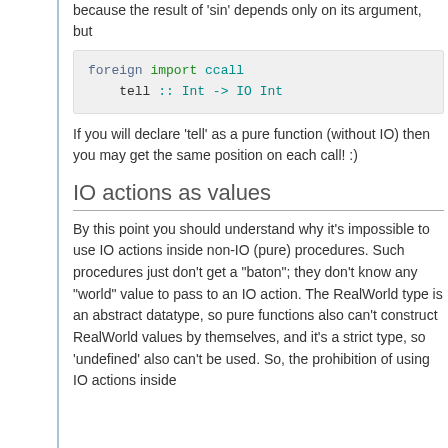because the result of 'sin' depends only on its argument, but
foreign import ccall
    tell :: Int -> IO Int
If you will declare 'tell' as a pure function (without IO) then you may get the same position on each call! :)
IO actions as values
By this point you should understand why it's impossible to use IO actions inside non-IO (pure) procedures. Such procedures just don't get a "baton"; they don't know any "world" value to pass to an IO action. The RealWorld type is an abstract datatype, so pure functions also can't construct RealWorld values by themselves, and it's a strict type, so 'undefined' also can't be used. So, the prohibition of using IO actions inside